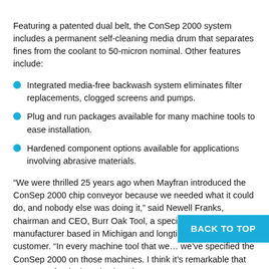Featuring a patented dual belt, the ConSep 2000 system includes a permanent self-cleaning media drum that separates fines from the coolant to 50-micron nominal. Other features include:
Integrated media-free backwash system eliminates filter replacements, clogged screens and pumps.
Plug and run packages available for many machine tools to ease installation.
Hardened component options available for applications involving abrasive materials.
“We were thrilled 25 years ago when Mayfran introduced the ConSep 2000 chip conveyor because we needed what it could do, and nobody else was doing it,” said Newell Franks, chairman and CEO, Burr Oak Tool, a specialty parts manufacturer based in Michigan and longtime Mayfran customer. “In every machine tool that we… we’ve specified the ConSep 2000 on those machines. I think it’s remarkable that 25 years after its introduction, the ConSep